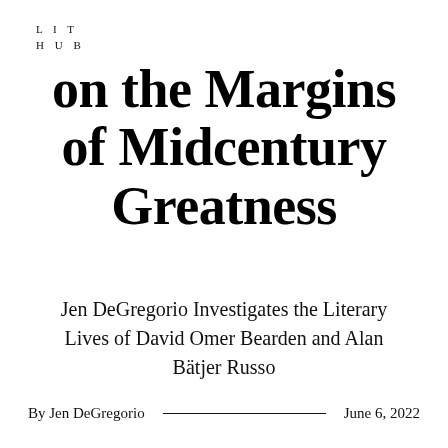LIT
HUB
on the Margins of Midcentury Greatness
Jen DeGregorio Investigates the Literary Lives of David Omer Bearden and Alan Bätjer Russo
By Jen DeGregorio
June 6, 2022